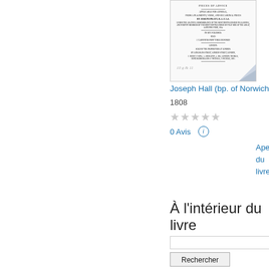[Figure (illustration): Book cover thumbnail of a historical text, showing small printed text lines with a title and author details, with handwritten annotation at the bottom and a folded corner]
Joseph Hall (bp. of Norwich.)
1808
★★★★★ (0 stars, greyed out)
0 Avis
Aperçu du livre »
À l'intérieur du livre
Rechercher